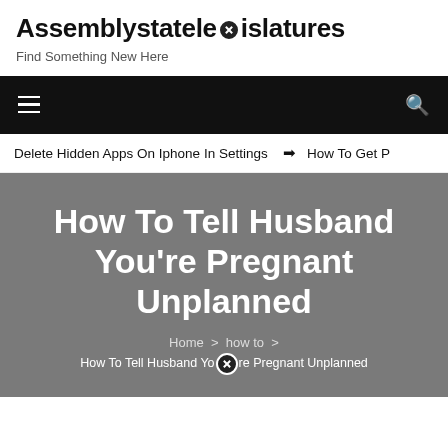Assemblystatelegislatures
Find Something New Here
[Figure (screenshot): Black navigation bar with hamburger menu icon on left and search icon on right]
Delete Hidden Apps On Iphone In Settings   ➤  How To Get P
How To Tell Husband You're Pregnant Unplanned
Home > how to > How To Tell Husband You're Pregnant Unplanned